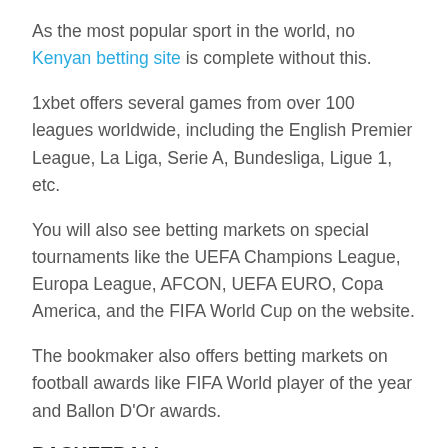As the most popular sport in the world, no Kenyan betting site is complete without this.
1xbet offers several games from over 100 leagues worldwide, including the English Premier League, La Liga, Serie A, Bundesliga, Ligue 1, etc.
You will also see betting markets on special tournaments like the UEFA Champions League, Europa League, AFCON, UEFA EURO, Copa America, and the FIFA World Cup on the website.
The bookmaker also offers betting markets on football awards like FIFA World player of the year and Ballon D'Or awards.
BASKETBALL
Basketball is an elite sport, mostly played in North